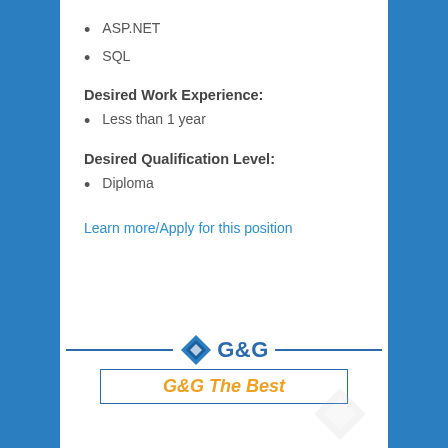ASP.NET
SQL
Desired Work Experience:
Less than 1 year
Desired Qualification Level:
Diploma
Learn more/Apply for this position
[Figure (logo): G&G company logo with diamond-shaped blue icon, G&G text in blue, horizontal lines on either side, and 'G&G The Best' in orange italic below]